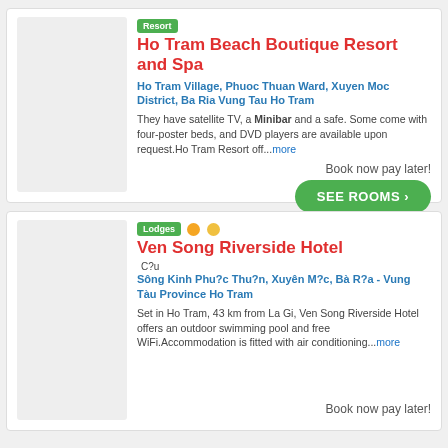Ho Tram Beach Boutique Resort and Spa
Ho Tram Village, Phuoc Thuan Ward, Xuyen Moc District, Ba Ria Vung Tau Ho Tram
They have satellite TV, a Minibar and a safe. Some come with four-poster beds, and DVD players are available upon request.Ho Tram Resort off...more
Book now pay later!
SEE ROOMS ›
Ven Song Riverside Hotel
C?u Sông Kinh Phu?c Thu?n, Xuyên M?c, Bà R?a - Vung Tàu Province Ho Tram
Set in Ho Tram, 43 km from La Gi, Ven Song Riverside Hotel offers an outdoor swimming pool and free WiFi.Accommodation is fitted with air conditioning...more
Book now pay later!